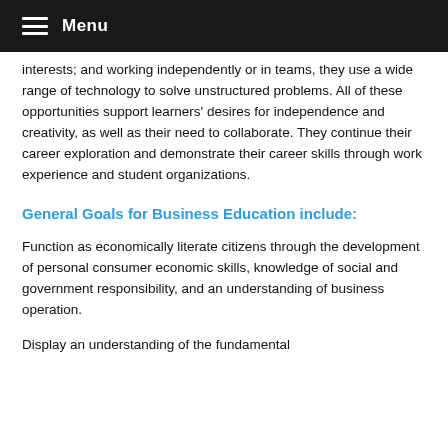Menu
interests; and working independently or in teams, they use a wide range of technology to solve unstructured problems. All of these opportunities support learners' desires for independence and creativity, as well as their need to collaborate. They continue their career exploration and demonstrate their career skills through work experience and student organizations.
General Goals for Business Education include:
Function as economically literate citizens through the development of personal consumer economic skills, knowledge of social and government responsibility, and an understanding of business operation.
Display an understanding of the fundamental